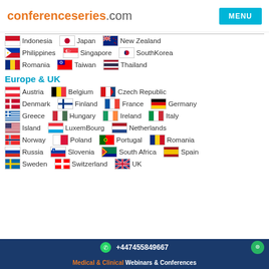conferenceseries.com | MENU
Indonesia | Japan | New Zealand
Philippines | Singapore | SouthKorea
Romania | Taiwan | Thailand
Europe & UK
Austria | Belgium | Czech Republic
Denmark | Finland | France | Germany
Greece | Hungary | Ireland | Italy
Island | LuxemBourg | Netherlands
Norway | Poland | Portugal | Romania
Russia | Slovenia | South Africa | Spain
Sweden | Switzerland | UK
+447455849667 | Medical & Clinical Webinars & Conferences